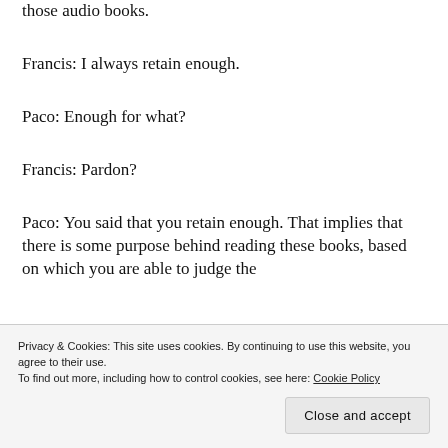those audio books.
Francis: I always retain enough.
Paco: Enough for what?
Francis: Pardon?
Paco: You said that you retain enough. That implies that there is some purpose behind reading these books, based on which you are able to judge the adequacy of what you retain.
Privacy & Cookies: This site uses cookies. By continuing to use this website, you agree to their use.
To find out more, including how to control cookies, see here: Cookie Policy
Close and accept